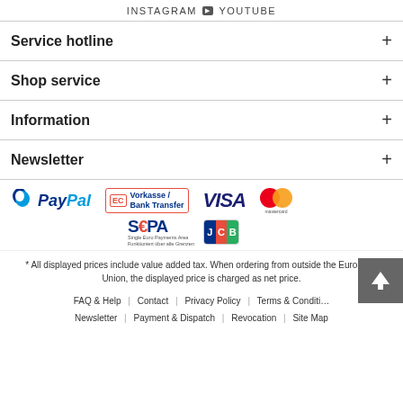INSTAGRAM  YOUTUBE
Service hotline
Shop service
Information
Newsletter
[Figure (logo): Payment method logos: PayPal, Vorkasse/Bank Transfer (EC), SEPA, JCB, VISA, Mastercard]
* All displayed prices include value added tax. When ordering from outside the European Union, the displayed price is charged as net price.
FAQ & Help | Contact | Privacy Policy | Terms & Conditions | Newsletter | Payment & Dispatch | Revocation | Site Map